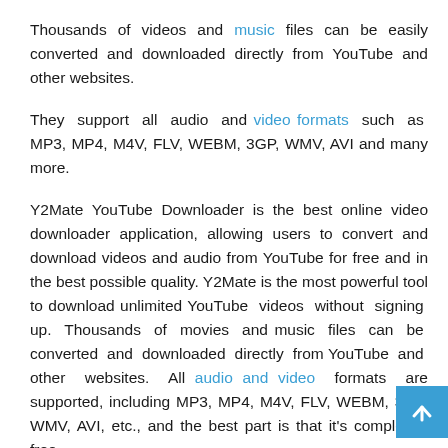Thousands of videos and music files can be easily converted and downloaded directly from YouTube and other websites.
They support all audio and video formats such as MP3, MP4, M4V, FLV, WEBM, 3GP, WMV, AVI and many more.
Y2Mate YouTube Downloader is the best online video downloader application, allowing users to convert and download videos and audio from YouTube for free and in the best possible quality. Y2Mate is the most powerful tool to download unlimited YouTube videos without signing up. Thousands of movies and music files can be converted and downloaded directly from YouTube and other websites. All audio and video formats are supported, including MP3, MP4, M4V, FLV, WEBM, 3GP, WMV, AVI, etc., and the best part is that it's completely free.
About OnlyMP3:
OnlyMP3 is a tool for downloading Youtube videos as MP3 files. User can convert YouTube videos to MP3 music files with just